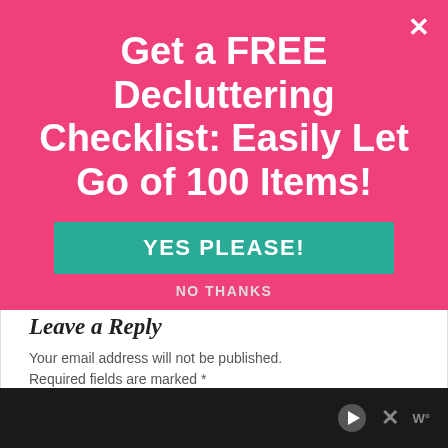Get a FREE Decluttering Checklist: Easily Let Go of 100 Items!
[Figure (screenshot): Teal 'YES PLEASE!' button]
NO THANKS
Leave a Reply
Your email address will not be published. Required fields are marked *
Comment *
[Figure (screenshot): Comment text area input box]
[Figure (screenshot): Ad bar at bottom with play icon, X close, and W° logo]